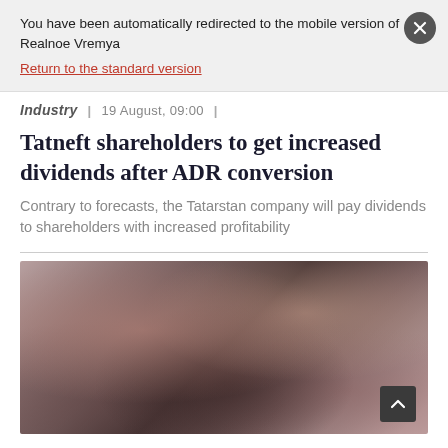You have been automatically redirected to the mobile version of Realnoe Vremya
Return to the standard version
Industry | 19 August, 09:00 |
Tatneft shareholders to get increased dividends after ADR conversion
Contrary to forecasts, the Tatarstan company will pay dividends to shareholders with increased profitability
[Figure (photo): Blurred photograph of people at what appears to be an industry event or meeting]